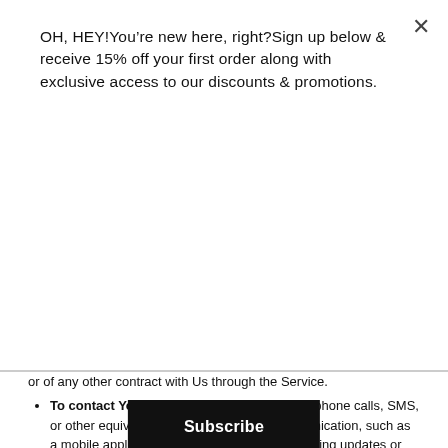OH, HEY!You’re new here, right?Sign up below & receive 15% off your first order along with exclusive access to our discounts & promotions.
[Figure (other): Subscribe button (black rectangle with white bold text 'Subscribe')]
or of any other contract with Us through the Service.
To contact You: To contact You by email, telephone calls, SMS, or other equivalent forms of electronic communication, such as a mobile application's push notifications regarding updates or informative communications related to the functionalities, products or contracted services, including the security updates, when necessary or reasonable for their implementation.
To provide You with news, special offers and general information about other goods, services and events which we offer that are similar to those that you have already purchased or enquired about unless You have opted not to receive such information.